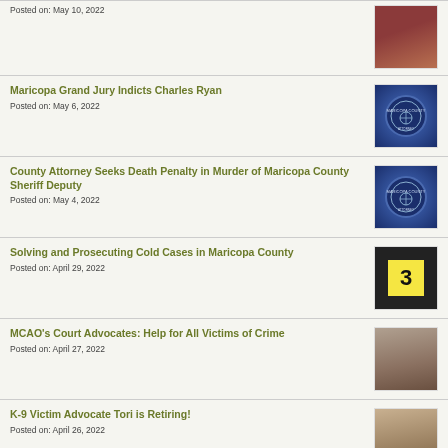Posted on: May 10, 2022
Maricopa Grand Jury Indicts Charles Ryan
Posted on: May 6, 2022
County Attorney Seeks Death Penalty in Murder of Maricopa County Sheriff Deputy
Posted on: May 4, 2022
Solving and Prosecuting Cold Cases in Maricopa County
Posted on: April 29, 2022
MCAO's Court Advocates: Help for All Victims of Crime
Posted on: April 27, 2022
K-9 Victim Advocate Tori is Retiring!
Posted on: April 26, 2022